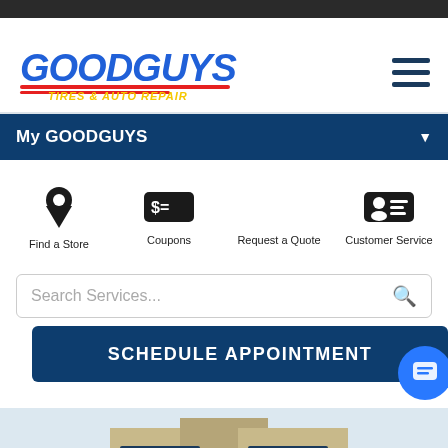[Figure (logo): Goodguys Tires & Auto Repair logo with blue bold text and yellow subtitle, red underline accent]
My GOODGUYS
[Figure (infographic): Four icons: Find a Store (map pin), Coupons (dollar bill), Request a Quote (no visible icon), Customer Service (ID card). Labels below each icon.]
Search Services...
SCHEDULE APPOINTMENT